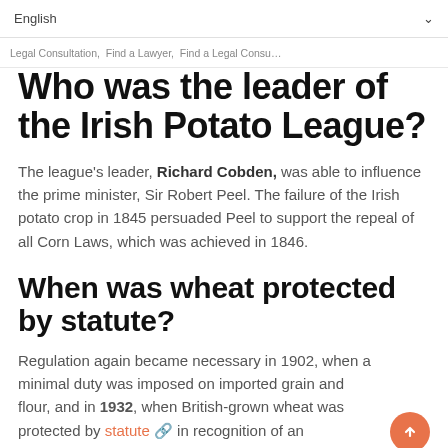English
Legal Consultation, Find a Lawyer, Find a Legal Consu...
Who was the leader of the Irish Potato League?
The league's leader, Richard Cobden, was able to influence the prime minister, Sir Robert Peel. The failure of the Irish potato crop in 1845 persuaded Peel to support the repeal of all Corn Laws, which was achieved in 1846.
When was wheat protected by statute?
Regulation again became necessary in 1902, when a minimal duty was imposed on imported grain and flour, and in 1932, when British-grown wheat was protected by statute 🔗 in recognition of an